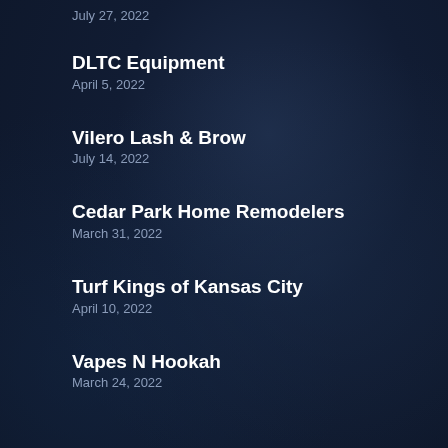July 27, 2022
DLTC Equipment
April 5, 2022
Vilero Lash & Brow
July 14, 2022
Cedar Park Home Remodelers
March 31, 2022
Turf Kings of Kansas City
April 10, 2022
Vapes N Hookah
March 24, 2022